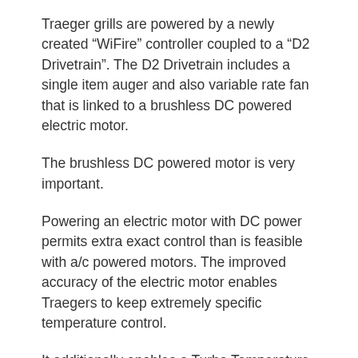Traeger grills are powered by a newly created “WiFire” controller coupled to a “D2 Drivetrain”. The D2 Drivetrain includes a single item auger and also variable rate fan that is linked to a brushless DC powered electric motor.
The brushless DC powered motor is very important.
Powering an electric motor with DC power permits extra exact control than is feasible with a/c powered motors. The improved accuracy of the electric motor enables Traegers to keep extremely specific temperature control.
It additionally enables a Turbo Temperature feature that allows the grill heat up exceptionally quick and also recover much faster